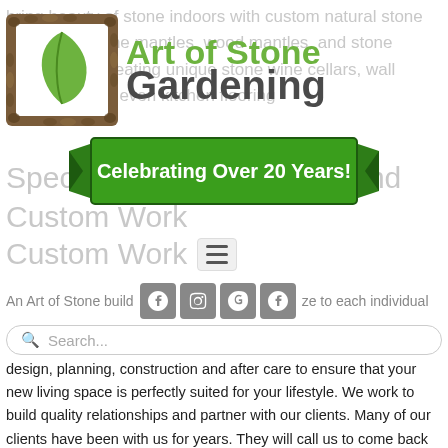[Figure (logo): Art of Stone Gardening logo with green leaf in stone-bordered square and green/dark text brand name]
bring beauty of stone indoors with custom natural stone fireplaces, stone mantles, wood mantles, and stone hearths. Yet creating unique stone wine cellars, wall surrounds and even kitchen flooring
[Figure (illustration): Green ribbon banner with text: Celebrating Over 20 Years!]
Specializing in residential and commercial Custom Work
An Art of Stone build project is customize to each individual
Search...
design, planning, construction and after care to ensure that your new living space is perfectly suited for your lifestyle. We work to build quality relationships and partner with our clients. Many of our clients have been with us for years. They will call us to come back and work on their next project, again and again. We love this, as this allows us to develop relationships and create something unique for them.